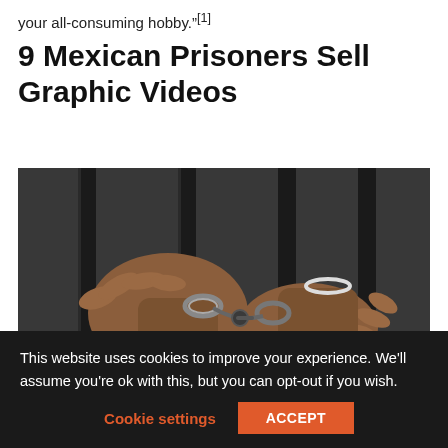your all-consuming hobby."[1]
9 Mexican Prisoners Sell Graphic Videos
[Figure (photo): Handcuffed hands reaching through prison bars]
This website uses cookies to improve your experience. We'll assume you're ok with this, but you can opt-out if you wish.
Cookie settings   ACCEPT